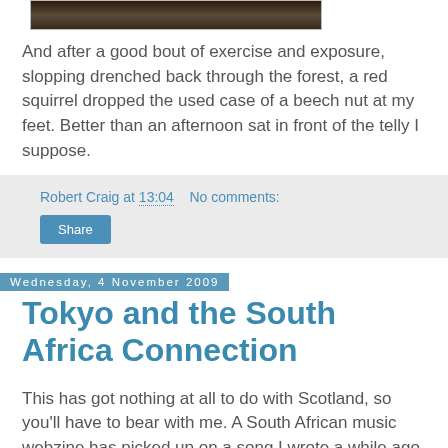[Figure (photo): Partial view of a nature/forest photo at top of page]
And after a good bout of exercise and exposure, slopping drenched back through the forest, a red squirrel dropped the used case of a beech nut at my feet. Better than an afternoon sat in front of the telly I suppose.
Robert Craig at 13:04   No comments:
Share
Wednesday, 4 November 2009
Tokyo and the South Africa Connection
This has got nothing at all to do with Scotland, so you'll have to bear with me. A South African music webzine has picked up on a song I wrote a while ago about a South African politician turned businessman called Tokyo Sexwale. Yes, it's a real name, and you can hear all about it here: